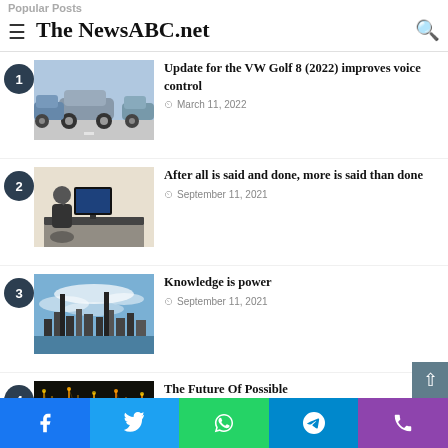The NewsABC.net
Popular Posts
1. Update for the VW Golf 8 (2022) improves voice control — March 11, 2022
2. After all is said and done, more is said than done — September 11, 2021
3. Knowledge is power — September 11, 2021
4. The Future Of Possible — September 11, 2021
Facebook | Twitter | WhatsApp | Telegram | Phone